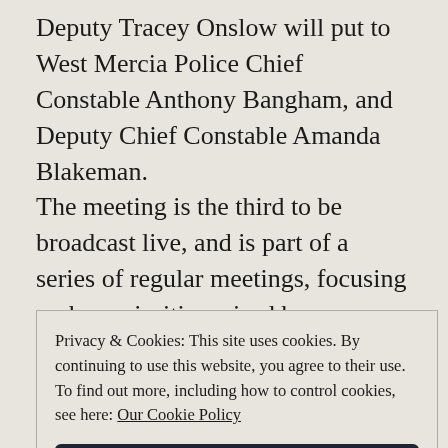Deputy Tracey Onslow will put to West Mercia Police Chief Constable Anthony Bangham, and Deputy Chief Constable Amanda Blakeman. The meeting is the third to be broadcast live, and is part of a series of regular meetings, focusing on key priorities raised by communities. Commissioner John Campion said “Building safer, more secure rural communities is something that, I
Privacy & Cookies: This site uses cookies. By continuing to use this website, you agree to their use. To find out more, including how to control cookies, see here: Our Cookie Policy
Close and accept
tackle rural crime or particular crime types